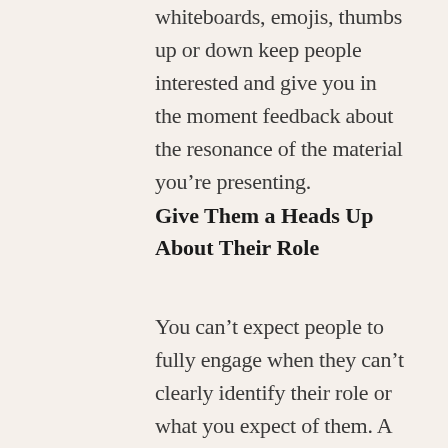whiteboards, emojis, thumbs up or down keep people interested and give you in the moment feedback about the resonance of the material you're presenting.
Give Them a Heads Up About Their Role
You can't expect people to fully engage when they can't clearly identify their role or what you expect of them. A heads-up from you before the meeting sets a common